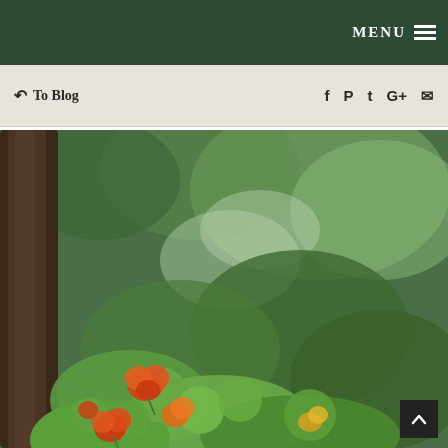MENU
↺ To Blog
[Figure (photo): Garden photo showing orange/red nasturtium flowers with green foliage in foreground, blurred green garden background with tree trunk visible on left side]